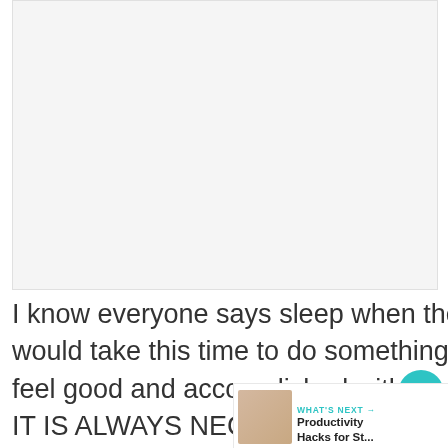[Figure (photo): Light gray placeholder image area at the top of the page]
I know everyone says sleep when the baby sleeps but honestly mama, I would take this time to do something to better yourself and make yourself feel good and accomplished with the day
IT IS ALWAYS NECESSARY TO LOOK FOR THAT FREE SPACE IN OUR LIFE, IT IS